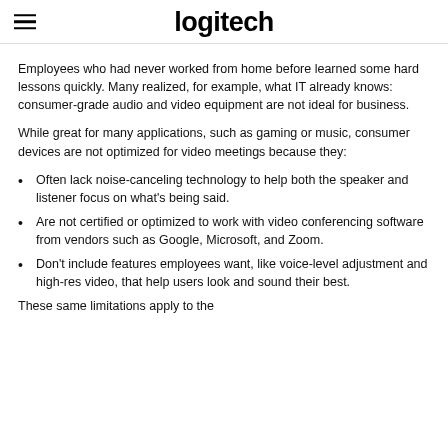logitech
Employees who had never worked from home before learned some hard lessons quickly. Many realized, for example, what IT already knows: consumer-grade audio and video equipment are not ideal for business.
While great for many applications, such as gaming or music, consumer devices are not optimized for video meetings because they:
Often lack noise-canceling technology to help both the speaker and listener focus on what's being said.
Are not certified or optimized to work with video conferencing software from vendors such as Google, Microsoft, and Zoom.
Don't include features employees want, like voice-level adjustment and high-res video, that help users look and sound their best.
These same limitations apply to the